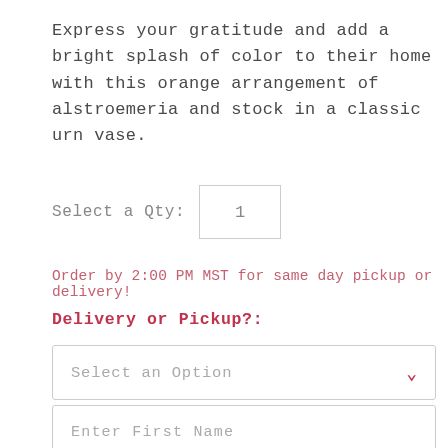Express your gratitude and add a bright splash of color to their home with this orange arrangement of alstroemeria and stock in a classic urn vase.
Select a Qty: 1
Order by 2:00 PM MST for same day pickup or delivery!
Delivery or Pickup?:
Select an Option
Enter First Name